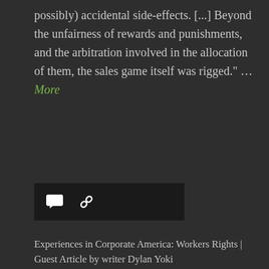possibly) accidental side-effects. [...] Beyond the unfairness of rewards and punishments, and the arbitration involved in the allocation of them, the sales game itself was rigged." … More
[Figure (other): Dark icon bar with speech bubble and chain/link icons]
Experiences in Corporate America: Workers Rights | Guest Article by writer Dylan Yoki
July 5, 2017
“As it stands right now, there is little to no protection for the average U.S. worker and this lack of protection often leads to a subdued work force that will tolerate any abuse from an employer.
This personal account, while only encompassing